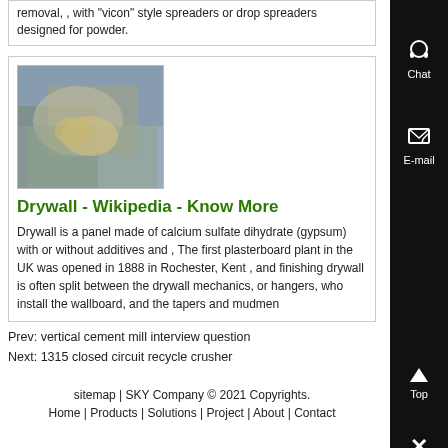removal, , with "vicon" style spreaders or drop spreaders designed for powder.
[Figure (photo): A person wearing work gloves handling drywall or construction material]
Drywall - Wikipedia - Know More
Drywall is a panel made of calcium sulfate dihydrate (gypsum) with or without additives and , The first plasterboard plant in the UK was opened in 1888 in Rochester, Kent , and finishing drywall is often split between the drywall mechanics, or hangers, who install the wallboard, and the tapers and mudmen
Prev: vertical cement mill interview question
Next: 1315 closed circuit recycle crusher
sitemap | SKY Company © 2021 Copyrights.
Home | Products | Solutions | Project | About | Contact